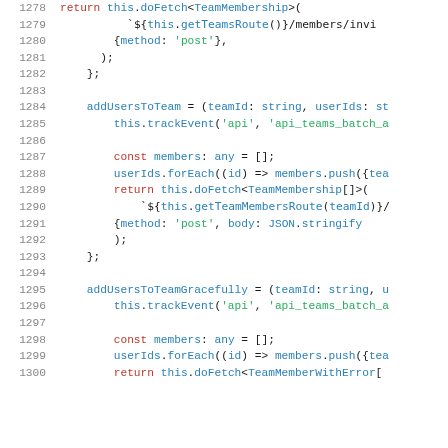[Figure (screenshot): Source code listing showing TypeScript/JavaScript code for team membership API methods, lines 1278–1300, including addUsersToTeam and addUsersToTeamGracefully functions with doFetch calls.]